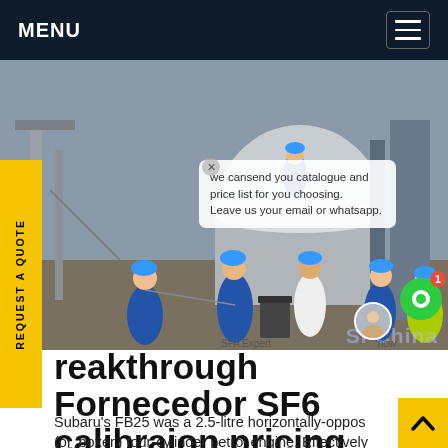MENU
[Figure (photo): Workers in blue coveralls and hard hats working on industrial equipment, likely SF6 gas equipment at a substation or power plant. Several workers visible, large cylindrical vessel in center. Chat overlay with text about catalogue and price list visible on right side.]
REQUEST A QUOTE
breakthrough Fornecedor SF6 calibraion pricing
Subaru's FB25 was a 2.5-litre horizontally-opposed (or 'boxer') four-cylinder petrol engine. Effectively